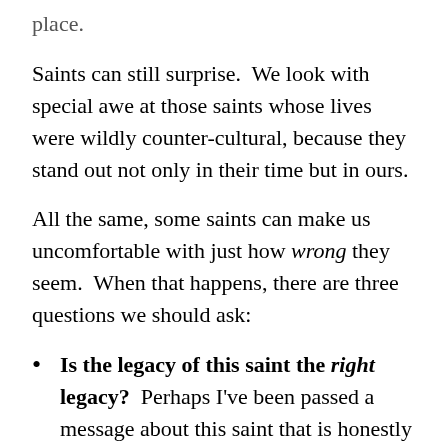place.
Saints can still surprise.  We look with special awe at those saints whose lives were wildly counter-cultural, because they stand out not only in their time but in ours.
All the same, some saints can make us uncomfortable with just how wrong they seem.  When that happens, there are three questions we should ask:
Is the legacy of this saint the right legacy?  Perhaps I've been passed a message about this saint that is honestly not what makes this saint an example of holiness.
Is this attribute of the saint just a plain old sin?  Every saint recognizes his or her need for the Redeemer.  Unless it's the Blessed Mother